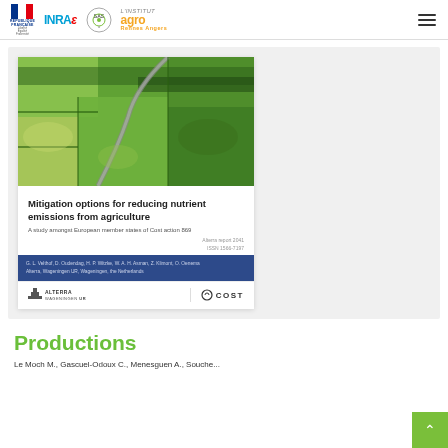République Française | INRAE | SAS | L'Institut agro Rennes Angers
[Figure (photo): Aerial photograph of agricultural fields with hedgerows and a winding road through green countryside, serving as cover image for a scientific report on nutrient emissions from agriculture. Below the photo is document text: 'Mitigation options for reducing nutrient emissions from agriculture - A study amongst European member states of Cost action 869'. Bottom section shows Alterra Wageningen UR and COST logos on white background with blue author banner.]
Productions
Le Moch M., Gascuel-Odoux C., Menesguen A., Souche...